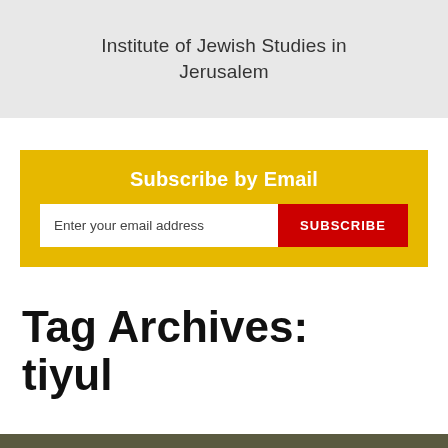Institute of Jewish Studies in Jerusalem
Subscribe by Email
Enter your email address  SUBSCRIBE
Tag Archives: tiyul